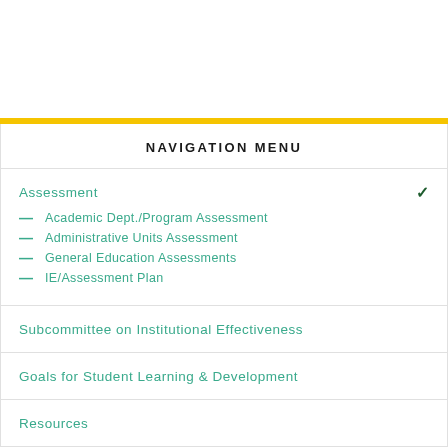NAVIGATION MENU
Assessment
Academic Dept./Program Assessment
Administrative Units Assessment
General Education Assessments
IE/Assessment Plan
Subcommittee on Institutional Effectiveness
Goals for Student Learning & Development
Resources